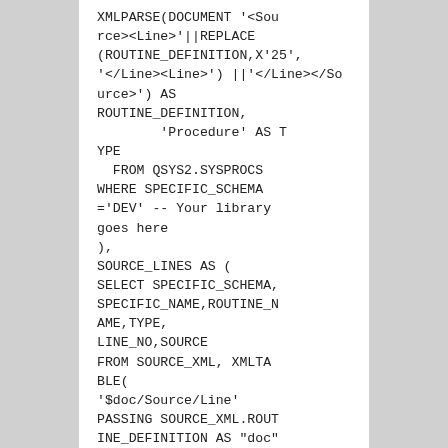XMLPARSE(DOCUMENT '<Source><Line>'||REPLACE(ROUTINE_DEFINITION,X'25','</Line><Line>') ||'</Line></Source>') AS ROUTINE_DEFINITION,
        'Procedure' AS TYPE
  FROM QSYS2.SYSPROCS
WHERE SPECIFIC_SCHEMA='DEV' -- Your library goes here
),
SOURCE_LINES AS (
SELECT SPECIFIC_SCHEMA,SPECIFIC_NAME,ROUTINE_NAME,TYPE,
LINE_NO,SOURCE
FROM SOURCE_XML, XMLTABLE(
'$doc/Source/Line'
PASSING SOURCE_XML.ROUTINE_DEFINITION AS "doc"